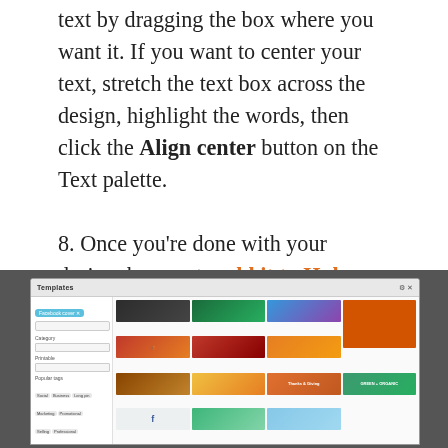text by dragging the box where you want it. If you want to center your text, stretch the text box across the design, highlight the words, then click the Align center button on the Text palette.

8. Once you're done with your design, be sure to add it to Hub. That way, you'll always know where to find it and you'll be able to re-edit it whenever you want.
[Figure (screenshot): Screenshot of a design tool's Templates panel showing a grid of Facebook cover template thumbnails with sidebar filters including Category, Printable, and Popular tags.]